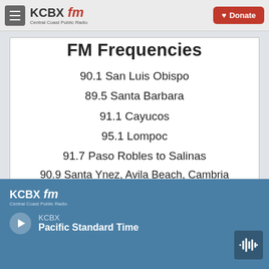KCBX FM — Central Coast Public Radio | Donate
FM Frequencies
90.1 San Luis Obispo
89.5 Santa Barbara
91.1 Cayucos
95.1 Lompoc
91.7 Paso Robles to Salinas
90.9 Santa Ynez, Avila Beach, Cambria
KCBX — Pacific Standard Time